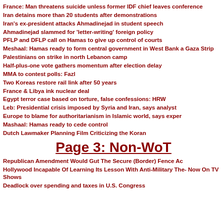France: Man threatens suicide unless former IDF chief leaves conference
Iran detains more than 20 students after demonstrations
Iran's ex-president attacks Ahmadinejad in student speech
Ahmadinejad slammed for 'letter-writing' foreign policy
PFLP and DFLP call on Hamas to give up control of courts
Meshaal: Hamas ready to form central government in West Bank and Gaza Strip
Palestinians on strike in north Lebanon camp
Half-plus-one vote gathers momentum after election delay
MMA to contest polls: Fazl
Two Koreas restore rail link after 50 years
France & Libya ink nuclear deal
Egypt terror case based on torture, false confessions: HRW
Leb: Presidential crisis imposed by Syria and Iran, says analyst
Europe to blame for authoritarianism in Islamic world, says expert
Mashaal: Hamas ready to cede control
Dutch Lawmaker Planning Film Criticizing the Koran
Page 3: Non-WoT
Republican Amendment Would Gut The Secure (Border) Fence Ac
Hollywood Incapable Of Learning Its Lesson With Anti-Military The- Now On TV Shows
Deadlock over spending and taxes in U.S. Congress